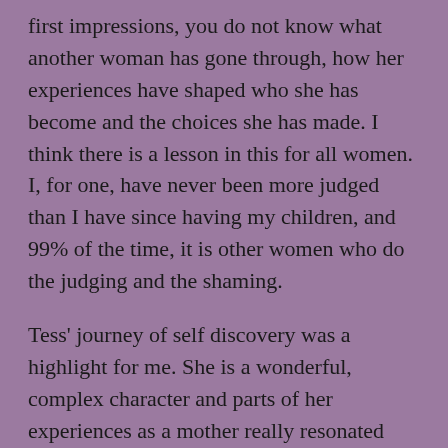first impressions, you do not know what another woman has gone through, how her experiences have shaped who she has become and the choices she has made. I think there is a lesson in this for all women. I, for one, have never been more judged than I have since having my children, and 99% of the time, it is other women who do the judging and the shaming.
Tess' journey of self discovery was a highlight for me. She is a wonderful, complex character and parts of her experiences as a mother really resonated with me. Some of her chapters I found hard to read, but I think that there was some real, hard truth within them,